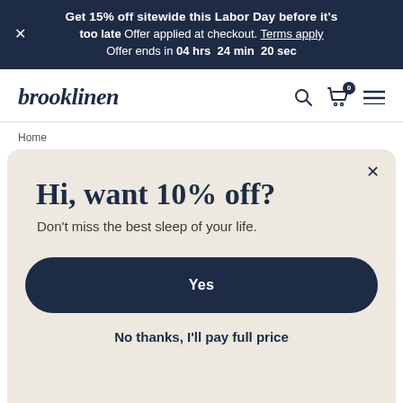Get 15% off sitewide this Labor Day before it's too late Offer applied at checkout. Terms apply Offer ends in 04 hrs 24 min 20 sec
brooklinen
Home
Hi, want 10% off?
Don't miss the best sleep of your life.
Yes
No thanks, I'll pay full price